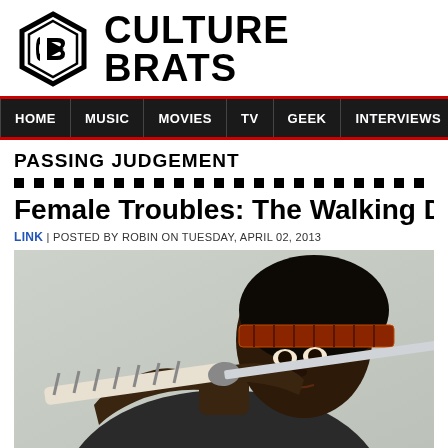[Figure (logo): Culture Brats logo — hexagonal badge icon with 'CB' inside, followed by bold uppercase text 'CULTURE BRATS']
HOME | MUSIC | MOVIES | TV | GEEK | INTERVIEWS | LISTS
PASSING JUDGEMENT
Female Troubles: The Walking Dead
LINK | POSTED BY ROBIN ON TUESDAY, APRIL 02, 2013
[Figure (photo): A woman with dreadlocks and a patterned headband holds a katana sword up to her face, looking intensely at the camera. Scene from The Walking Dead character Michonne.]